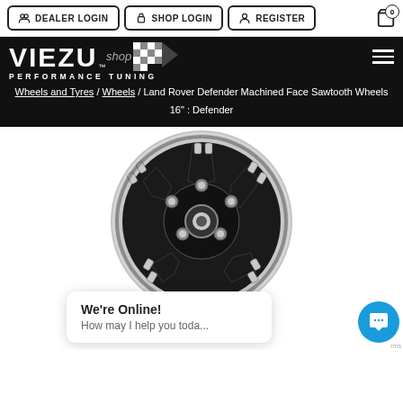DEALER LOGIN | SHOP LOGIN | REGISTER | Cart: 0
[Figure (logo): Viezu Performance Tuning logo with checkered flag graphic on black background]
shop / Wheels and Styling / Wheels and Tyres / Wheels / Land Rover Defender Machined Face Sawtooth Wheels 16" : Defender
[Figure (photo): Land Rover Defender 16-inch machined face sawtooth alloy wheel in black and silver finish, viewed front-on]
We're Online! How may I help you toda...